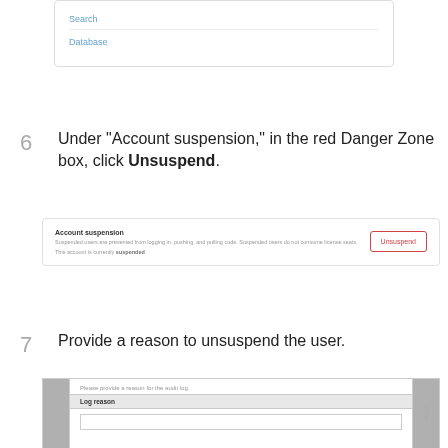[Figure (screenshot): Partial screenshot showing menu items 'Search' and 'Database' in a bordered box]
6  Under "Account suspension," in the red Danger Zone box, click Unsuspend.
[Figure (screenshot): Screenshot of Account suspension section with Unsuspend button. Text: 'Account suspension. Suspended users are prevented from logging in, pushing, and pulling code. Suspended users do not consume license seats. This account is currently suspended.']
7  Provide a reason to unsuspend the user.
[Figure (screenshot): Screenshot of dialog with 'Please provide a reason for the audit log.' and a Log reason input field]